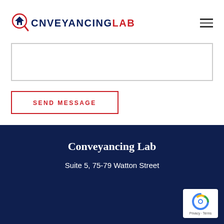[Figure (logo): ConveyancingLab logo with house/magnifying glass icon, CONVEYANCING in dark navy and LAB in red, all caps bold]
[Figure (other): Hamburger menu icon (three horizontal lines)]
[Figure (other): Empty message text area input field with grey border]
SEND MESSAGE
Conveyancing Lab
Suite 5, 75-79 Watton Street